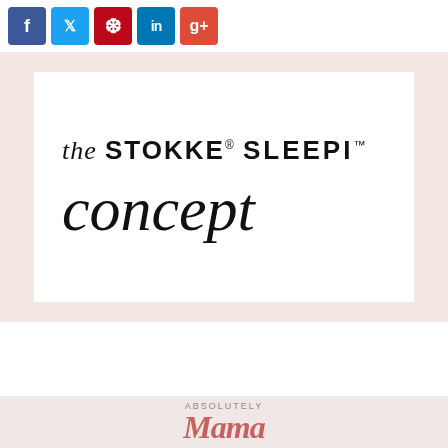[Figure (other): Social media share buttons: Facebook (blue), Twitter (light blue), Pinterest (red), LinkedIn (blue), Google+ (red-orange)]
[Figure (other): Product branding card on pink/blush background showing 'the STOKKE® SLEEPI™ concept' in mixed typography — italic serif 'the', bold sans-serif 'STOKKE SLEEPI', italic script 'concept']
[Figure (logo): Partially visible footer logo reading 'ABSOLUTELY Mama' in stylized script]